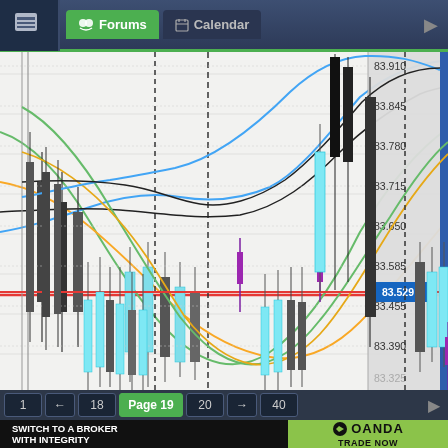Forums | Calendar
[Figure (continuous-plot): Candlestick forex chart showing price action around 83.195–83.910 range with moving average lines (blue, green, orange, black), a horizontal red support/resistance line at 83.529, vertical dashed lines marking time boundaries, and cyan/dark candlesticks. Current price label shows 83.529 in blue box on y-axis.]
1 ← 18 Page 19 20 → 40
[Figure (infographic): OANDA advertisement banner: 'SWITCH TO A BROKER WITH INTEGRITY' on dark background left side, OANDA logo with green background and 'TRADE NOW' text on right side.]